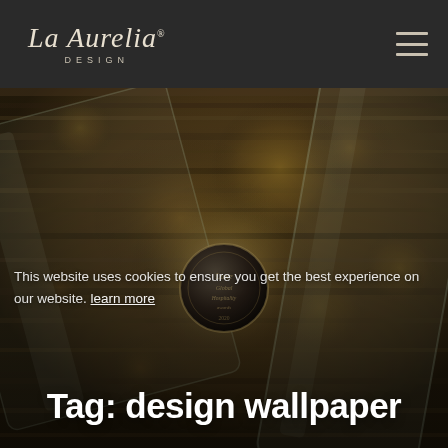La Aurelia DESIGN
[Figure (photo): Hero image showing two glass crystal award trophies (Luxe Global Hospitality Awards 2020) against a blurred dark wood background with bokeh lighting effects]
This website uses cookies to ensure you get the best experience on our website. learn more
Tag: design wallpaper